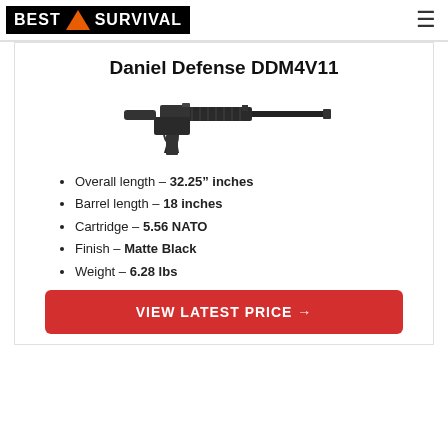BEST SURVIVAL
Daniel Defense DDM4V11
[Figure (photo): Photo of a Daniel Defense DDM4V11 AR-style rifle in black, shown in profile facing right with a free-floating handguard and no stock.]
Overall length – 32.25" inches
Barrel length – 18 inches
Cartridge – 5.56 NATO
Finish – Matte Black
Weight – 6.28 lbs
VIEW LATEST PRICE →